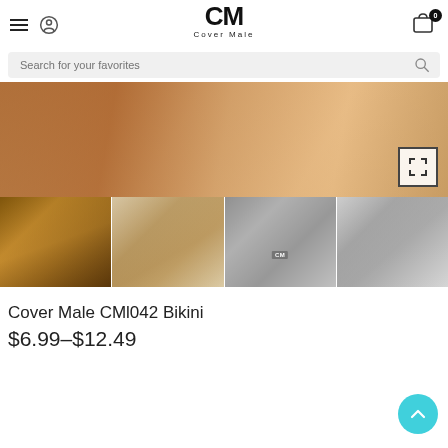Cover Male — CM logo, navigation, search bar
[Figure (photo): Close-up product photo of black sheer bikini underwear worn by a model, with fullscreen expand icon in bottom right]
[Figure (photo): Four thumbnail product photos of Cover Male CMl042 Bikini: muscular male model outdoors, male model posing, front view of grey bikini with CM logo, side/back view of grey bikini]
Cover Male CMl042 Bikini
$6.99–$12.49